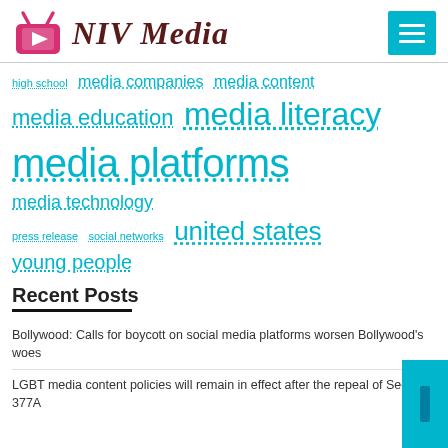[Figure (logo): NIV Media logo with pink TV icon and dark red stylized text]
high school  media companies  media content  media education  media literacy  media platforms  media technology  press release  social networks  united states  young people
Recent Posts
Bollywood: Calls for boycott on social media platforms worsen Bollywood's woes
LGBT media content policies will remain in effect after the repeal of Section 377A